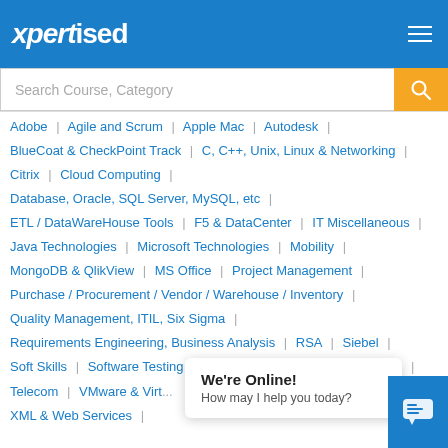xpertised
Search Course, Category
Adobe | Agile and Scrum | Apple Mac | Autodesk |
BlueCoat & CheckPoint Track | C, C++, Unix, Linux & Networking |
Citrix | Cloud Computing |
Database, Oracle, SQL Server, MySQL, etc |
ETL / DataWareHouse Tools | F5 & DataCenter | IT Miscellaneous |
Java Technologies | Microsoft Technologies | Mobility |
MongoDB & QlikView | MS Office | Project Management |
Purchase / Procurement / Vendor / Warehouse / Inventory |
Quality Management, ITIL, Six Sigma |
Requirements Engineering, Business Analysis | RSA | Siebel |
Soft Skills | Software Testing | Software Testing Automation Tools |
Telecom | VMware & Virt... |
XML & Web Services |
We're Online!
How may I help you today?